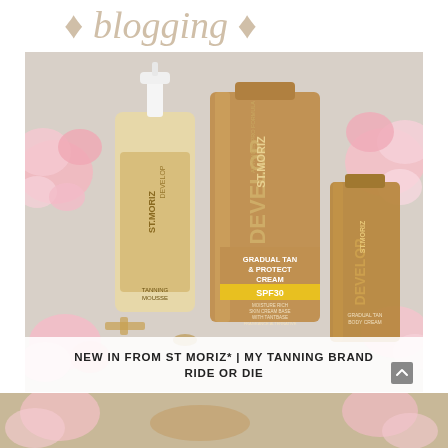[Figure (illustration): Decorative script/handwritten style text at top of page (partially visible)]
[Figure (photo): Photo of three St. Moriz Advanced Pro Formula self-tanning products arranged together: a tanning mousse bottle on left, a large tube of Gradual Tan & Protect Cream SPF30 in center, and a small tube of Gradual Tan on right. Pink flowers and gold accessories visible in background.]
NEW IN FROM ST MORIZ* | MY TANNING BRAND RIDE OR DIE
[Figure (photo): Partial bottom strip showing continuation of floral/product background below the main image block]